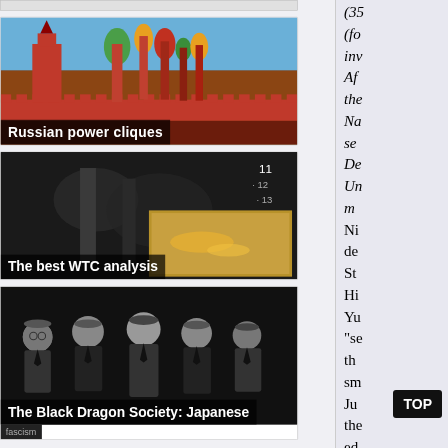[Figure (screenshot): Stub/nav bar at top of left column]
[Figure (photo): Photo of Red Square Moscow with Kremlin and St. Basil's Cathedral with caption 'Russian power cliques']
[Figure (screenshot): WTC analysis image with numbered list overlay (11, 12, 13) and an insert image of molten metal at WTC site, caption 'The best WTC analysis']
[Figure (photo): Black and white photo of five men in dark suits - Black Dragon Society Japanese members, with caption 'The Black Dragon Society: Japanese' and tag 'fascism']
(35 (fo inv Af the Na se De Un m Ni de St Hi Yu "se th sm Ju the ed ra